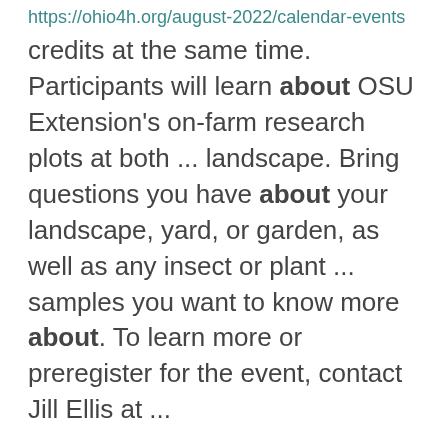https://ohio4h.org/august-2022/calendar-events
credits at the same time. Participants will learn about OSU Extension’s on-farm research plots at both ... landscape. Bring questions you have about your landscape, yard, or garden, as well as any insect or plant ... samples you want to know more about. To learn more or preregister for the event, contact Jill Ellis at ...
4-H Teens Become Leaders at the Ohio State Fair
https://ohio4h.org/august-2022/4-h-teens-become-leaders-ohio-state-fair
activities and information about 4-H. TLC